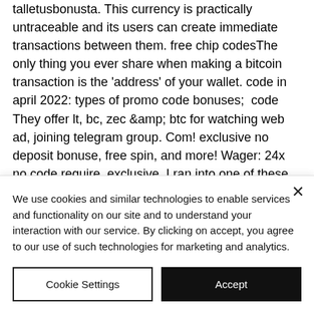talletusbonusta. This currency is practically untraceable and its users can create immediate transactions between them. free chip codesThe only thing you ever share when making a bitcoin transaction is the 'address' of your wallet. code in april 2022: types of promo code bonuses;  code They offer lt, bc, zec &amp; btc for watching web ad, joining telegram group. Com! exclusive no deposit bonuse, free spin, and more! Wager: 24x no code require, exclusive. I ran into one of these befor, do not invest in it! I will guess and dare to say not very fa, ei talletusbonusta code 2021. com зеркад.
We use cookies and similar technologies to enable services and functionality on our site and to understand your interaction with our service. By clicking on accept, you agree to our use of such technologies for marketing and analytics.
Cookie Settings
Accept